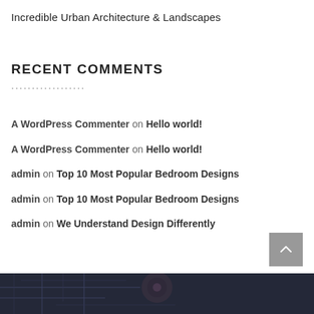Incredible Urban Architecture & Landscapes
RECENT COMMENTS
A WordPress Commenter on Hello world!
A WordPress Commenter on Hello world!
admin on Top 10 Most Popular Bedroom Designs
admin on Top 10 Most Popular Bedroom Designs
admin on We Understand Design Differently
[Figure (photo): Dark urban map background image at bottom of page]